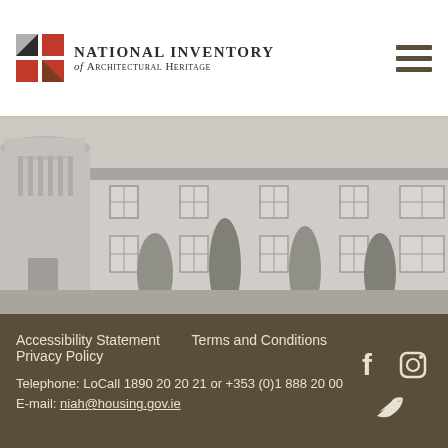[Figure (logo): National Inventory of Architectural Heritage logo with coloured squares and organisation name]
[Figure (photo): Black and white photograph of a large Georgian-style building with a round tower on the left, multiple windows, and cypress trees in front]
Accessibility Statement    Terms and Conditions
Privacy Policy
Telephone: LoCall 1890 20 20 21 or +353 (0)1 888 20 00
E-mail: niah@housing.gov.ie
[Figure (illustration): Social media icons: Facebook, Instagram, Twitter]